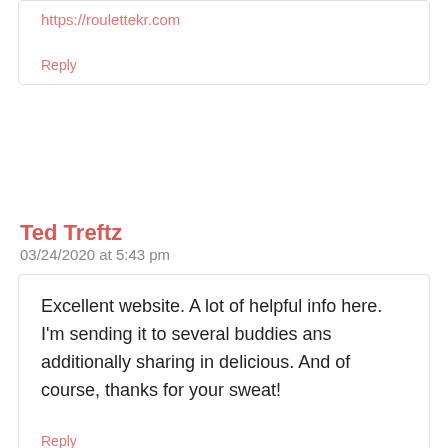https://roulettekr.com
Reply
Ted Treftz
03/24/2020 at 5:43 pm
Excellent website. A lot of helpful info here. I'm sending it to several buddies ans additionally sharing in delicious. And of course, thanks for your sweat!
Reply